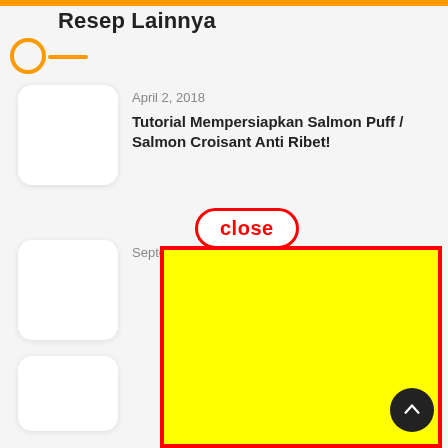Resep Lainnya
April 2, 2018
Tutorial Mempersiapkan Salmon Puff / Salmon Croisant Anti Ribet!
close
September 1, 2019
[Figure (screenshot): Yellow advertisement overlay box with red border covering most of the lower portion of the page]
[Figure (illustration): Dark circular scroll-to-top button with white upward arrow]